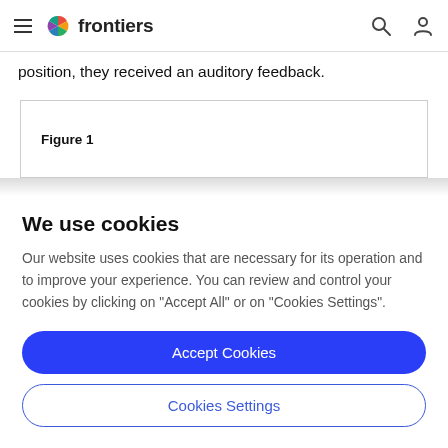frontiers
position, they received an auditory feedback.
Figure 1
We use cookies
Our website uses cookies that are necessary for its operation and to improve your experience. You can review and control your cookies by clicking on "Accept All" or on "Cookies Settings".
Accept Cookies
Cookies Settings